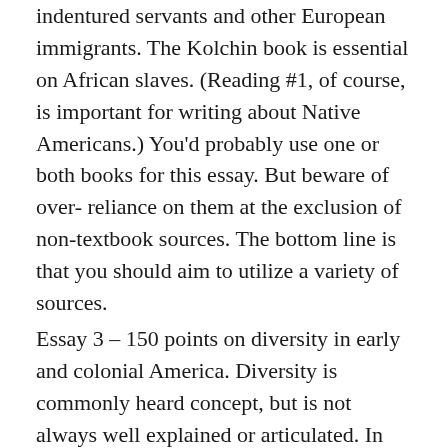indentured servants and other European immigrants. The Kolchin book is essential on African slaves. (Reading #1, of course, is important for writing about Native Americans.) You'd probably use one or both books for this essay. But beware of over- reliance on them at the exclusion of non-textbook sources. The bottom line is that you should aim to utilize a variety of sources.
Essay 3 – 150 points on diversity in early and colonial America. Diversity is commonly heard concept, but is not always well explained or articulated. In this essay, conceptualize, explain, and analyze this concept in early and colonial American history. You should offer at least three categories of diversity, and explain